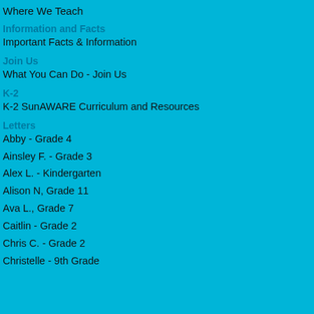Where We Teach
Information and Facts
Important Facts & Information
Join Us
What You Can Do - Join Us
K-2
K-2 SunAWARE Curriculum and Resources
Letters
Abby - Grade 4
Ainsley F. - Grade 3
Alex L. - Kindergarten
Alison N, Grade 11
Ava L., Grade 7
Caitlin - Grade 2
Chris C. - Grade 2
Christelle - 9th Grade